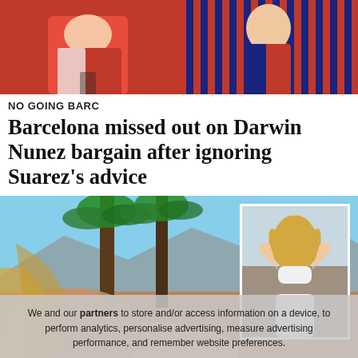[Figure (photo): Two football players side by side: left player in red Manchester United kit, right player in blue and red Barcelona striped kit]
NO GOING BARC
Barcelona missed out on Darwin Nunez bargain after ignoring Suarez's advice
[Figure (photo): Main photo of a blonde woman lying face-down in a bikini outdoors with palm trees and mountains in the background. Inset photo shows a young blonde woman in a white bra and shorts posing against a rock. A cookie consent overlay is partially visible at the bottom.]